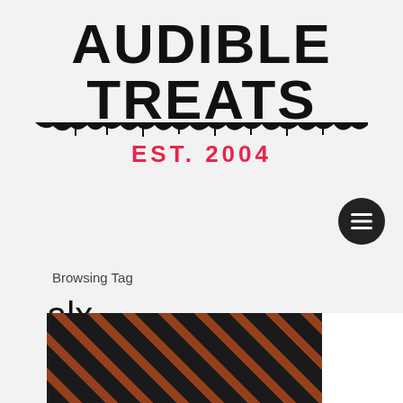AUDIBLE TREATS EST. 2004
Browsing Tag
alx   6 posts
ALX & STUNNAGONMAKEIT Hit the Club in the Slick “Stranger” Video 🎬
[Figure (photo): Dark club scene video still with orange/red diagonal streak overlays and a central horizontal light glow]